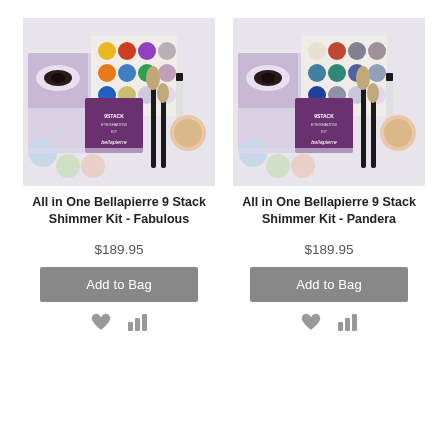[Figure (photo): All in One Bellapierre 9 Stack Shimmer Kit - Fabulous product image showing eyeshadow palette with brushes and makeup tools]
All in One Bellapierre 9 Stack Shimmer Kit - Fabulous
$189.95
Add to Bag
[Figure (photo): All in One Bellapierre 9 Stack Shimmer Kit - Pandera product image showing eyeshadow palette with brushes and makeup tools]
All in One Bellapierre 9 Stack Shimmer Kit - Pandera
$189.95
Add to Bag